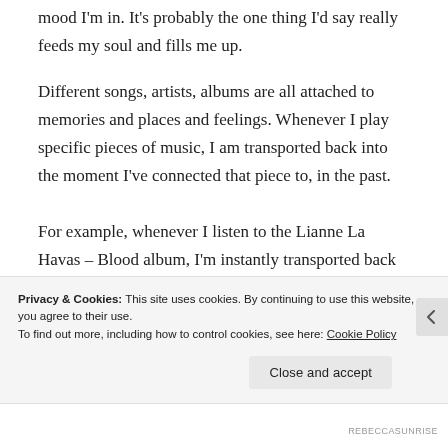mood I'm in. It's probably the one thing I'd say really feeds my soul and fills me up.
Different songs, artists, albums are all attached to memories and places and feelings. Whenever I play specific pieces of music, I am transported back into the moment I've connected that piece to, in the past.
For example, whenever I listen to the Lianne La Havas – Blood album, I'm instantly transported back to the time I walked through the backstreets of Kyoto, Japan. Completely alone, as it poured
Privacy & Cookies: This site uses cookies. By continuing to use this website, you agree to their use.
To find out more, including how to control cookies, see here: Cookie Policy